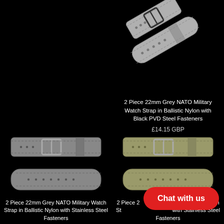[Figure (photo): Diagonal view of a grey NATO military watch strap with black PVD steel fasteners on black background]
2 Piece 22mm Grey NATO Military Watch Strap in Ballistic Nylon with Black PVD Steel Fasteners
£14.15 GBP
[Figure (photo): Grey NATO military watch strap with stainless steel fasteners, flat lay view on black background]
2 Piece 22mm Grey NATO Military Watch Strap in Ballistic Nylon with Stainless Steel Fasteners
£9.95 GBP
[Figure (photo): Olive/khaki NATO military watch strap with stainless steel fasteners, flat lay view on black background]
2 Piece 22mm Khaki NATO Military Watch Strap in Ballistic Nylon with Stainless Steel Fasteners
£9.95 GBP